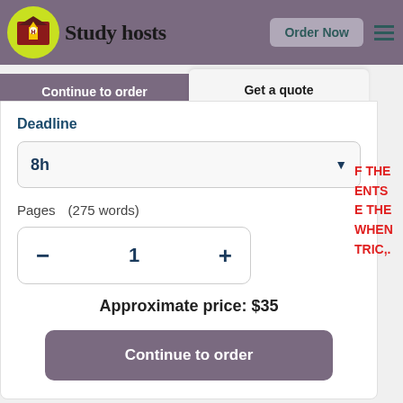Study hosts | Order Now
Continue to order | Get a quote
Deadline
8h
Pages (275 words)
1
Approximate price: $35
Continue to order